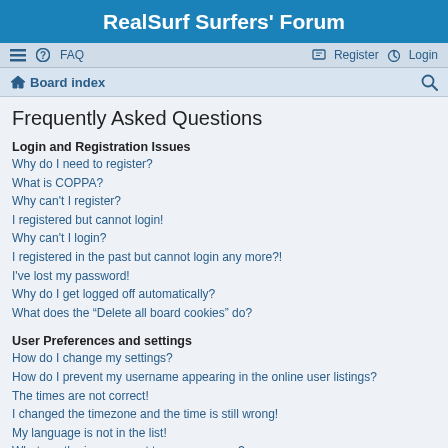RealSurf Surfers' Forum
≡  FAQ  Register  Login
Board index
Frequently Asked Questions
Login and Registration Issues
Why do I need to register?
What is COPPA?
Why can't I register?
I registered but cannot login!
Why can't I login?
I registered in the past but cannot login any more?!
I've lost my password!
Why do I get logged off automatically?
What does the “Delete all board cookies” do?
User Preferences and settings
How do I change my settings?
How do I prevent my username appearing in the online user listings?
The times are not correct!
I changed the timezone and the time is still wrong!
My language is not in the list!
What are the images next to my username?